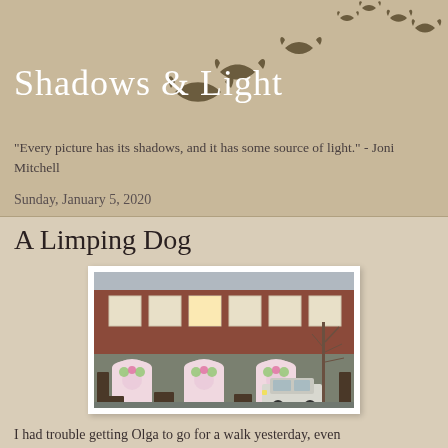Shadows & Light
"Every picture has its shadows, and it has some source of light." - Joni Mitchell
Sunday, January 5, 2020
A Limping Dog
[Figure (photo): Photograph of a brick building facade with three decorative arched windows featuring floral painted designs, a white Mini Cooper car parked in front, and a bare tree to the right.]
I had trouble getting Olga to go for a walk yesterday, even